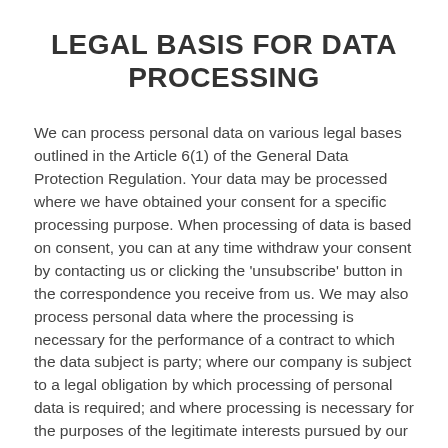LEGAL BASIS FOR DATA PROCESSING
We can process personal data on various legal bases outlined in the Article 6(1) of the General Data Protection Regulation. Your data may be processed where we have obtained your consent for a specific processing purpose. When processing of data is based on consent, you can at any time withdraw your consent by contacting us or clicking the 'unsubscribe' button in the correspondence you receive from us. We may also process personal data where the processing is necessary for the performance of a contract to which the data subject is party; where our company is subject to a legal obligation by which processing of personal data is required; and where processing is necessary for the purposes of the legitimate interests pursued by our company or by a third party except where such interests are overridden by the interests or fundamental rights and freedoms of an identified or